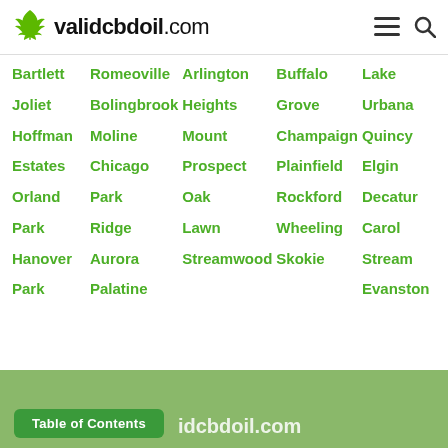validcbdoil.com
Bartlett
Romeoville
Arlington
Buffalo
Lake
Joliet
Bolingbrook
Heights
Grove
Urbana
Hoffman
Moline
Mount
Champaign
Quincy
Estates
Chicago
Prospect
Plainfield
Elgin
Orland
Park
Oak
Rockford
Decatur
Park
Ridge
Lawn
Wheeling
Carol
Hanover
Aurora
Streamwood
Skokie
Stream
Park
Palatine
Evanston
Table of Contents  idcbdoil.com